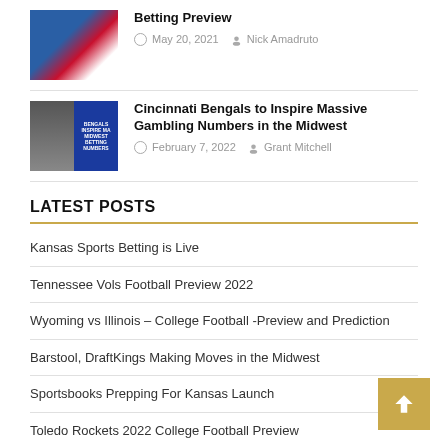[Figure (photo): Hockey player image thumbnail]
Betting Preview
May 20, 2021   Nick Amadruto
[Figure (photo): Cincinnati Bengals article thumbnail with text overlay: BENGALS INSPIRE MA MIDWEST BETTING NUMBERS]
Cincinnati Bengals to Inspire Massive Gambling Numbers in the Midwest
February 7, 2022   Grant Mitchell
LATEST POSTS
Kansas Sports Betting is Live
Tennessee Vols Football Preview 2022
Wyoming vs Illinois – College Football -Preview and Prediction
Barstool, DraftKings Making Moves in the Midwest
Sportsbooks Prepping For Kansas Launch
Toledo Rockets 2022 College Football Preview